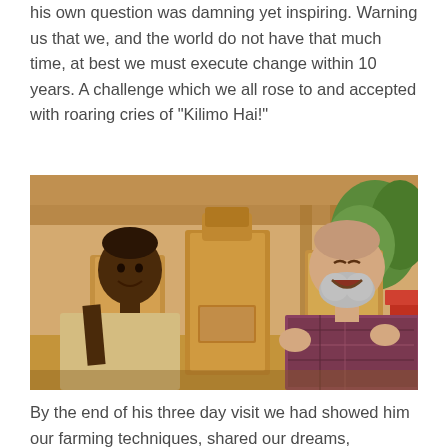his own question was damning yet inspiring. Warning us that we, and the world do not have that much time, at best we must execute change within 10 years. A challenge which we all rose to and accepted with roaring cries of “Kilimo Hai!”
[Figure (photo): Two people holding large brown paper bags, smiling. A young African man on the left and an older white-bearded man on the right, both appearing cheerful. Background shows a building corridor with green trees visible on the right.]
By the end of his three day visit we had showed him our farming techniques, shared our dreams, practiced